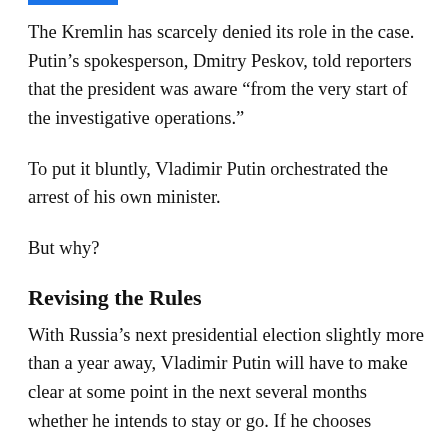The Kremlin has scarcely denied its role in the case. Putin’s spokesperson, Dmitry Peskov, told reporters that the president was aware “from the very start of the investigative operations.”
To put it bluntly, Vladimir Putin orchestrated the arrest of his own minister.
But why?
Revising the Rules
With Russia’s next presidential election slightly more than a year away, Vladimir Putin will have to make clear at some point in the next several months whether he intends to stay or go. If he chooses